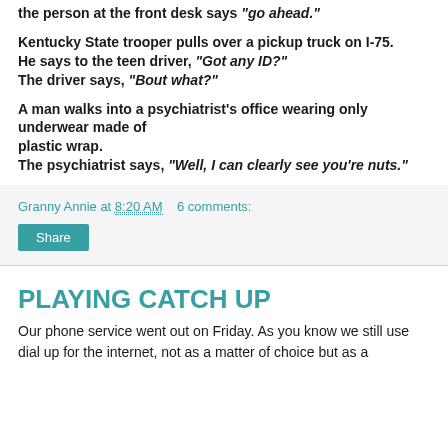the person at the front desk says "go ahead."
Kentucky State trooper pulls over a pickup truck on I-75. He says to the teen driver, "Got any ID?" The driver says, "Bout what?"
A man walks into a psychiatrist's office wearing only underwear made of plastic wrap. The psychiatrist says, "Well, I can clearly see you're nuts."
Granny Annie at 8:20 AM   6 comments:
Share
PLAYING CATCH UP
Our phone service went out on Friday. As you know we still use dial up for the internet, not as a matter of choice but as a